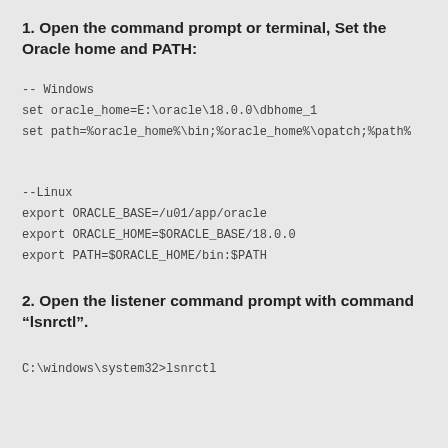1. Open the command prompt or terminal, Set the Oracle home and PATH:
-- Windows
set oracle_home=E:\oracle\18.0.0\dbhome_1
set path=%oracle_home%\bin;%oracle_home%\opatch;%path%
--Linux
export ORACLE_BASE=/u01/app/oracle
export ORACLE_HOME=$ORACLE_BASE/18.0.0
export PATH=$ORACLE_HOME/bin:$PATH
2. Open the listener command prompt with command “lsnrctl”.
C:\windows\system32>lsnrctl